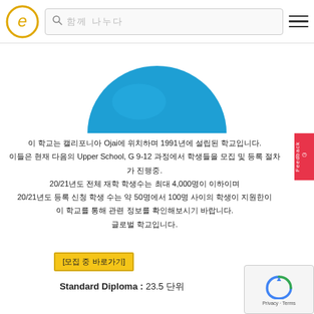e [search bar] [menu]
[Figure (illustration): Blue semicircle/circle graphic at the top center of the page]
이 학교는 캘리포니아 Ojai에 위치하며 1991년에 설립된 학교입니다. 이들은 현재 다음의 Upper School, G 9-12 과정에서 학생들을 모집 및 등록 절차가 진행중. 20/21년도 전체 재학 학생수는 최대 4,000명이 이하이며 20/21년도 등록 신청 학생 수는 약 50명에서 100명 사이의 학생이 지원한이 학교를 통해 관련 정보를 확인해보시기 바랍니다. 글로벌 학교입니다.
[모집 중 바로가기]
Standard Diploma : 23.5 단위